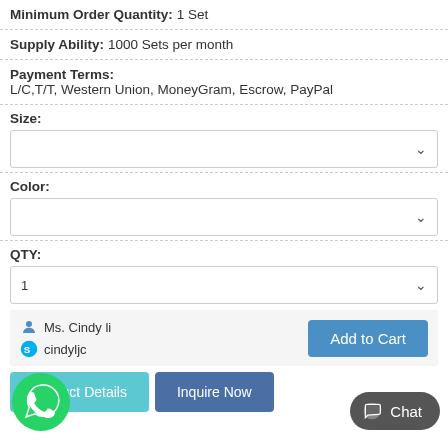Minimum Order Quantity: 1 Set
Supply Ability: 1000 Sets per month
Payment Terms: L/C,T/T, Western Union, MoneyGram, Escrow, PayPal
Size:
[Figure (screenshot): Dropdown selector for Size]
Color:
[Figure (screenshot): Dropdown selector for Color]
QTY:
[Figure (screenshot): Dropdown selector for QTY with value 1]
Ms. Cindy li
cindyljc
Add to Cart
Product Details
Inquire Now
Chat